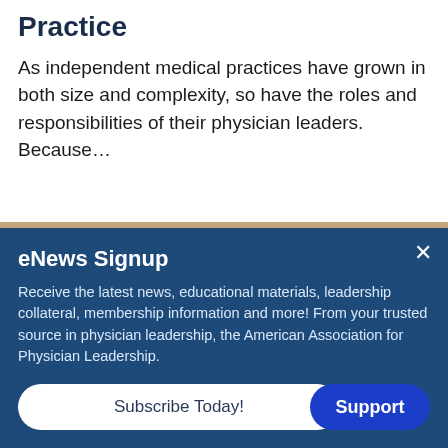Practice
As independent medical practices have grown in both size and complexity, so have the roles and responsibilities of their physician leaders. Because…
[Figure (photo): Partial photo strip showing faces/people, partially obscured by overlay]
eNews Signup
Receive the latest news, educational materials, leadership collateral, membership information and more! From your trusted source in physician leadership, the American Association for Physician Leadership.
Subscribe Today!  Support